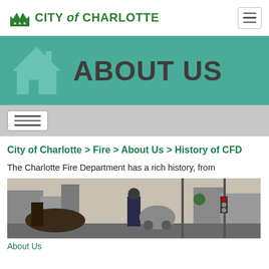CITY of CHARLOTTE
[Figure (screenshot): City of Charlotte About Us banner with teal background and house icon]
ABOUT US
City of Charlotte > Fire > About Us > History of CFD
The Charlotte Fire Department has a rich history, from
[Figure (photo): Charlotte Fire Department historical parade photo showing firefighter in uniform on horse-drawn apparatus downtown]
About Us